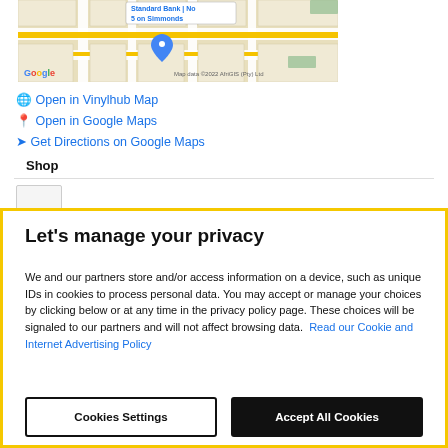[Figure (map): Google Maps screenshot showing Standard Bank / No 5 on Simmonds location. Map data ©2022 AfriGIS (Pty) Ltd]
Open in Vinylhub Map
Open in Google Maps
Get Directions on Google Maps
Shop
Let's manage your privacy
We and our partners store and/or access information on a device, such as unique IDs in cookies to process personal data. You may accept or manage your choices by clicking below or at any time in the privacy policy page. These choices will be signaled to our partners and will not affect browsing data.  Read our Cookie and Internet Advertising Policy
Cookies Settings
Accept All Cookies